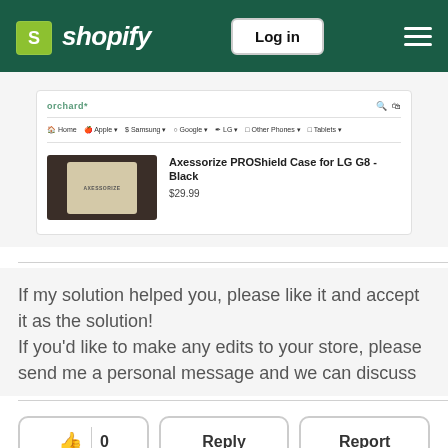Shopify — Log in
[Figure (screenshot): Orchard store product page showing navigation bar with Home, Apple, Samsung, Google, LG, Other Phones, Tablets menu items, and a product listing for Axessorize PROShield Case for LG G8 - Black priced at $29.99]
If my solution helped you, please like it and accept it as the solution! If you'd like to make any edits to your store, please send me a personal message and we can discuss
0  Reply  Report